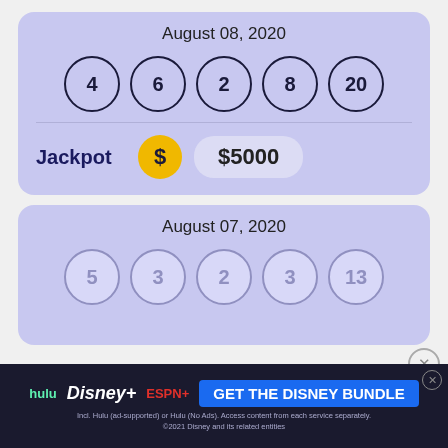August 08, 2020
[Figure (infographic): Five lottery balls showing numbers 4, 6, 2, 8, 20]
Jackpot $5000
August 07, 2020
[Figure (infographic): Five lottery balls showing numbers 5, 3, 2, 3, 13 (partially visible)]
[Figure (infographic): Advertisement banner: GET THE DISNEY BUNDLE - hulu, Disney+, ESPN+]